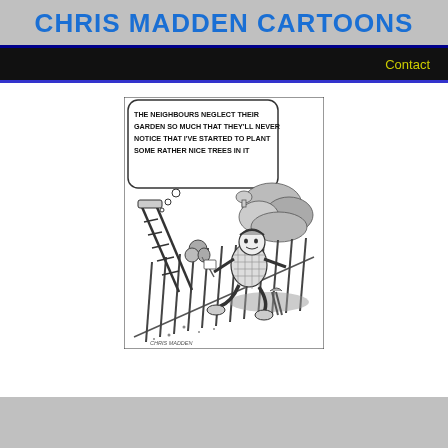CHRIS MADDEN CARTOONS
Contact
[Figure (illustration): A cartoon by Chris Madden showing a man kneeling by a fence, secretly planting a tree in his neighbour's neglected garden. A thought bubble reads: 'THE NEIGHBOURS NEGLECT THEIR GARDEN SO MUCH THAT THEY'LL NEVER NOTICE THAT I'VE STARTED TO PLANT SOME RATHER NICE TREES IN IT'. A stepladder leans against the fence. Signed 'CHRIS MADDEN' at the bottom.]